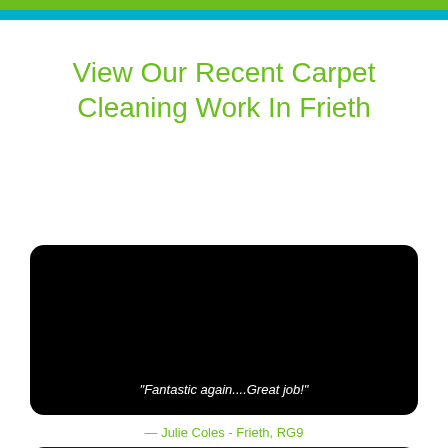View Our Recent Carpet Cleaning Work In Frieth
[Figure (photo): Black video/photo thumbnail box with white italic quote text reading: 'Fantastic again....Great job!']
— Julie Coles - Frieth, RG9
[Figure (photo): Second black video/photo thumbnail box, partially visible at bottom of page]